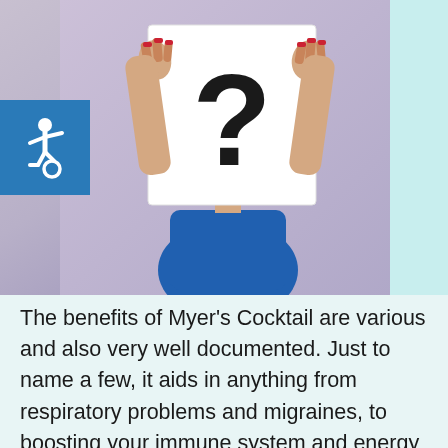[Figure (photo): A woman in a blue dress holding up a large white sign with a bold black question mark, obscuring her face. A blue accessibility/disability icon is overlaid on the left side of the image.]
The benefits of Myer's Cocktail are various and also very well documented. Just to name a few, it aids in anything from respiratory problems and migraines, to boosting your immune system and energy levels. However, nothing is without risk. Although having adverse side effects from IV therapy is extremely rare, it is possible for some patients to have a negative reaction to it. The reactions can be various and range in